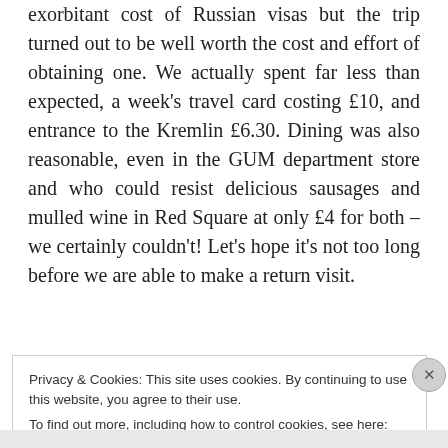exorbitant cost of Russian visas but the trip turned out to be well worth the cost and effort of obtaining one. We actually spent far less than expected, a week's travel card costing £10, and entrance to the Kremlin £6.30. Dining was also reasonable, even in the GUM department store and who could resist delicious sausages and mulled wine in Red Square at only £4 for both – we certainly couldn't! Let's hope it's not too long before we are able to make a return visit.
Privacy & Cookies: This site uses cookies. By continuing to use this website, you agree to their use.
To find out more, including how to control cookies, see here: Privacy Policy
Close and accept